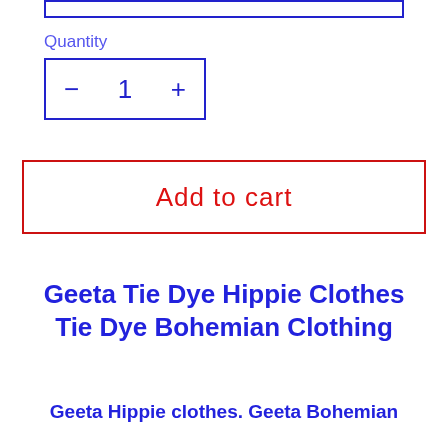Quantity
− 1 +
Add to cart
Geeta Tie Dye Hippie Clothes Tie Dye Bohemian Clothing
Geeta Hippie clothes. Geeta Bohemian